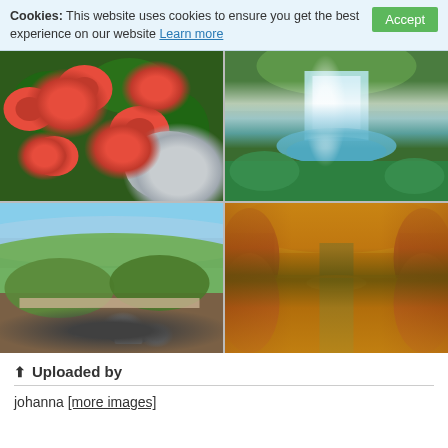Cookies: This website uses cookies to ensure you get the best experience on our website Learn more Accept
[Figure (photo): Four nature photographs in a 2x2 grid: top-left shows red dahlia flowers against green foliage, top-right shows a waterfall cascading into a green forest pool, bottom-left shows an aerial view of a hillside city with roads and cars, bottom-right shows an autumn tree-lined canal with golden reflections]
Uploaded by
johanna [more images]